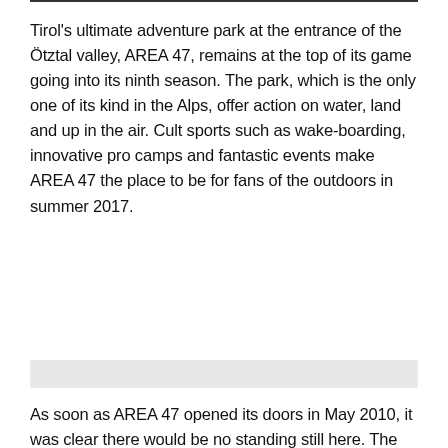Tirol's ultimate adventure park at the entrance of the Ötztal valley, AREA 47, remains at the top of its game going into its ninth season. The park, which is the only one of its kind in the Alps, offer action on water, land and up in the air. Cult sports such as wake-boarding, innovative pro camps and fantastic events make AREA 47 the place to be for fans of the outdoors in summer 2017.
[Figure (other): Gray placeholder bar representing an image area]
As soon as AREA 47 opened its doors in May 2010, it was clear there would be no standing still here. The